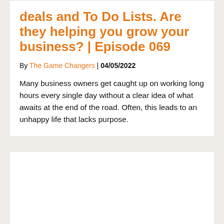deals and To Do Lists. Are they helping you grow your business? | Episode 069
By The Game Changers | 04/05/2022
Many business owners get caught up on working long hours every single day without a clear idea of what awaits at the end of the road. Often, this leads to an unhappy life that lacks purpose.
[Figure (other): Empty white card/box at the bottom of the page, possibly placeholder for an image or media embed]